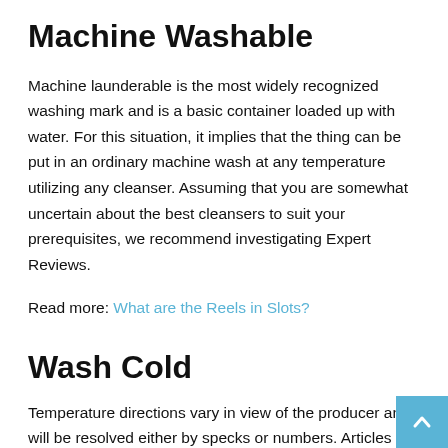Machine Washable
Machine launderable is the most widely recognized washing mark and is a basic container loaded up with water. For this situation, it implies that the thing can be put in an ordinary machine wash at any temperature utilizing any cleanser. Assuming that you are somewhat uncertain about the best cleansers to suit your prerequisites, we recommend investigating Expert Reviews.
Read more: What are the Reels in Slots?
Wash Cold
Temperature directions vary in view of the producer and will be resolved either by specks or numbers. Articles of clothing that